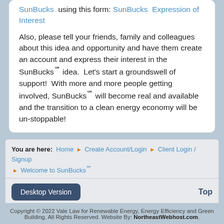SunBucks using this form: SunBucks Expression of Interest
Also, please tell your friends, family and colleagues about this idea and opportunity and have them create an account and express their interest in the SunBucks℠ idea.  Let's start a groundswell of support!  With more and more people getting involved, SunBucks℠ will become real and available and the transition to a clean energy economy will be un-stoppable!
You are here: Home > Create Account/Login > Client Login / Signup > Welcome to SunBucks℠
Desktop Version
Top
Copyright © 2022 Vale Law for Renewable Energy, Energy Efficiency and Green Building. All Rights Reserved. Website By: NortheastWebhost.com.